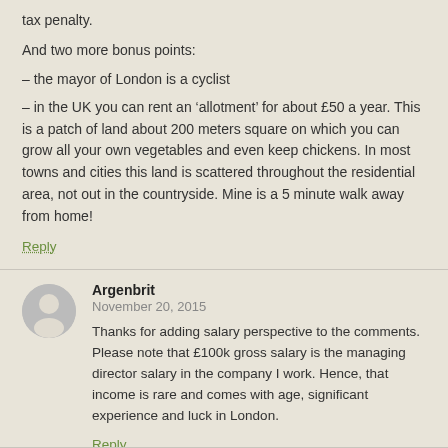tax penalty.
And two more bonus points:
– the mayor of London is a cyclist
– in the UK you can rent an 'allotment' for about £50 a year. This is a patch of land about 200 meters square on which you can grow all your own vegetables and even keep chickens. In most towns and cities this land is scattered throughout the residential area, not out in the countryside. Mine is a 5 minute walk away from home!
Reply
Argenbrit
November 20, 2015
Thanks for adding salary perspective to the comments. Please note that £100k gross salary is the managing director salary in the company I work. Hence, that income is rare and comes with age, significant experience and luck in London.
Reply